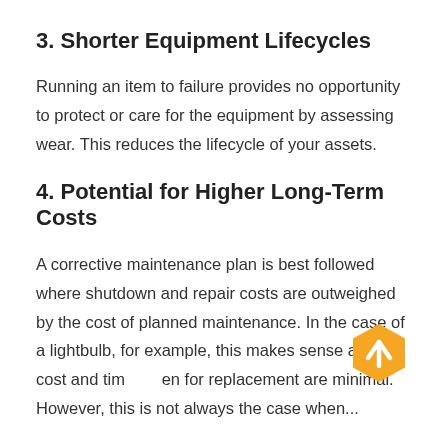3. Shorter Equipment Lifecycles
Running an item to failure provides no opportunity to protect or care for the equipment by assessing wear. This reduces the lifecycle of your assets.
4. Potential for Higher Long-Term Costs
A corrective maintenance plan is best followed where shutdown and repair costs are outweighed by the cost of planned maintenance. In the case of a lightbulb, for example, this makes sense as the cost and time taken for replacement are minimal. However, this is not always the case when...
[Figure (illustration): Orange hexagon with white upward arrow icon, a scroll-to-top navigation button overlaid on lower right of page]